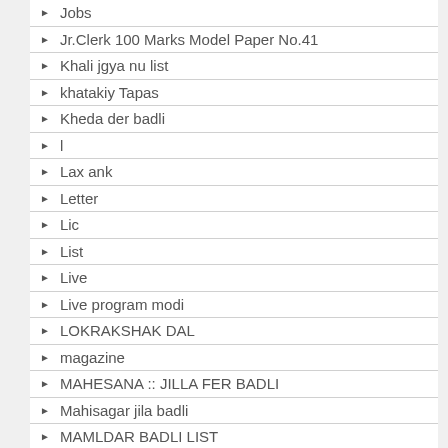Jobs
Jr.Clerk 100 Marks Model Paper No.41
Khali jgya nu list
khatakiy Tapas
Kheda der badli
l
Lax ank
Letter
Lic
List
Live
Live program modi
LOKRAKSHAK DAL
magazine
MAHESANA :: JILLA FER BADLI
Mahisagar jila badli
MAMLDAR BADLI LIST
MAN KI BAT